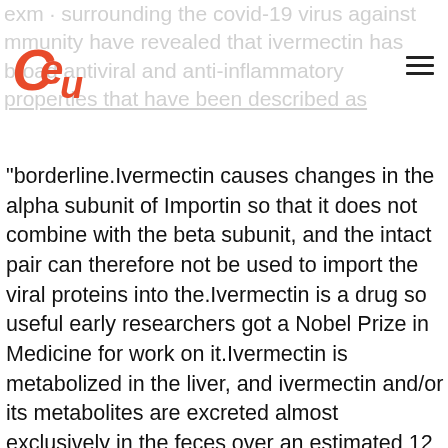CeU logo and navigation header
"borderline.Ivermectin causes changes in the alpha subunit of Importin so that it does not combine with the beta subunit, and the intact pair can therefore not be used to import the viral proteins into the.Ivermectin is a drug so useful early researchers got a Nobel Prize in Medicine for work on it.Ivermectin is metabolized in the liver, and ivermectin and/or its metabolites are excreted almost exclusively in the feces over an estimated 12 days, with less than 1% of the administered dose excreted in the urine.If you have any questions, ask your doctor or.Ivermectin is generally given on an empty stomach with water; however, administering ivermectin with food increases its bioavailability.When mites and